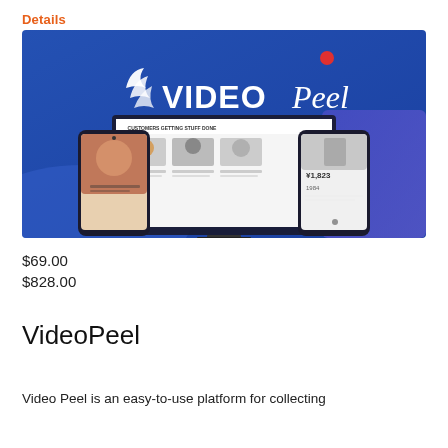Details
[Figure (screenshot): VideoPeel product hero image showing the VideoPeel logo on a blue background with devices (laptop, smartphone) displaying a testimonial/video review platform UI]
$69.00
$828.00
VideoPeel
Video Peel is an easy-to-use platform for collecting